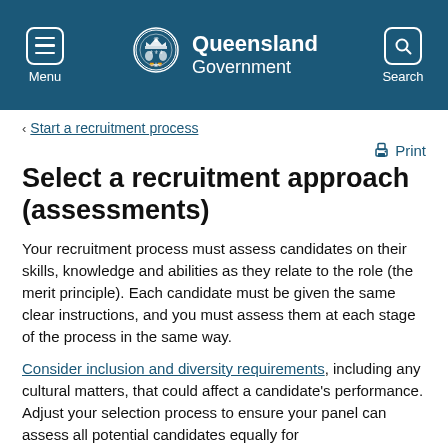Queensland Government — Menu / Search header
< Start a recruitment process
Print
Select a recruitment approach (assessments)
Your recruitment process must assess candidates on their skills, knowledge and abilities as they relate to the role (the merit principle). Each candidate must be given the same clear instructions, and you must assess them at each stage of the process in the same way.
Consider inclusion and diversity requirements, including any cultural matters, that could affect a candidate's performance. Adjust your selection process to ensure your panel can assess all potential candidates equally for